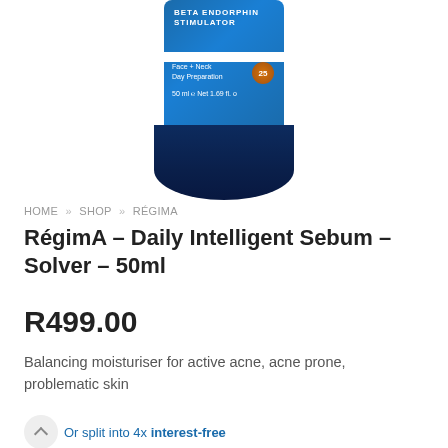[Figure (photo): A blue cosmetic tube product - RégimA Daily Intelligent Sebum Solver 50ml with SPF 25, blue and navy color scheme with white stripes]
HOME » SHOP » RÉGIMA
RégimA – Daily Intelligent Sebum – Solver – 50ml
R499.00
Balancing moisturiser for active acne, acne prone, problematic skin
Or split into 4x interest-free